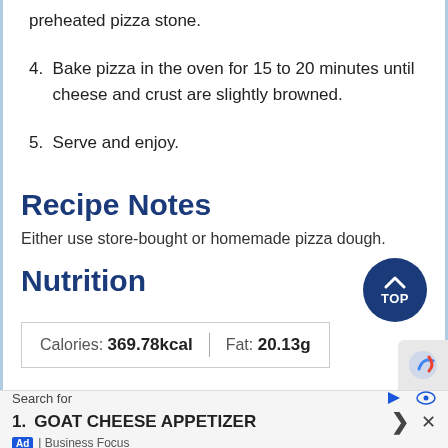preheated pizza stone.
4. Bake pizza in the oven for 15 to 20 minutes until cheese and crust are slightly browned.
5. Serve and enjoy.
Recipe Notes
Either use store-bought or homemade pizza dough.
Nutrition
Calories: 369.78kcal  Fat: 20.13g
Search for
1. GOAT CHEESE APPETIZER
Ad | Business Focus